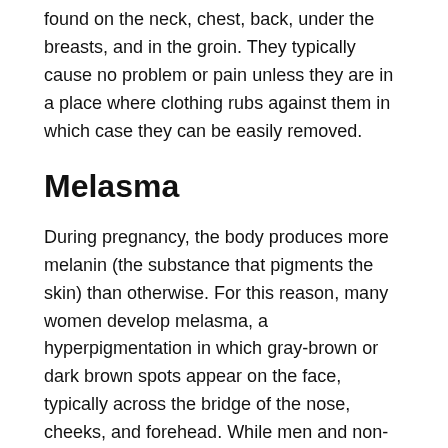found on the neck, chest, back, under the breasts, and in the groin. They typically cause no problem or pain unless they are in a place where clothing rubs against them in which case they can be easily removed.
Melasma
During pregnancy, the body produces more melanin (the substance that pigments the skin) than otherwise. For this reason, many women develop melasma, a hyperpigmentation in which gray-brown or dark brown spots appear on the face, typically across the bridge of the nose, cheeks, and forehead. While men and non-pregnant women may develop melasma, the condition so often affects pregnant women that it is also known as “the facial mask of pregnancy.” Melasma is more common in people with darker skin. “In the majority of cases, melasma goes away on its own; if it doesn’t, there are